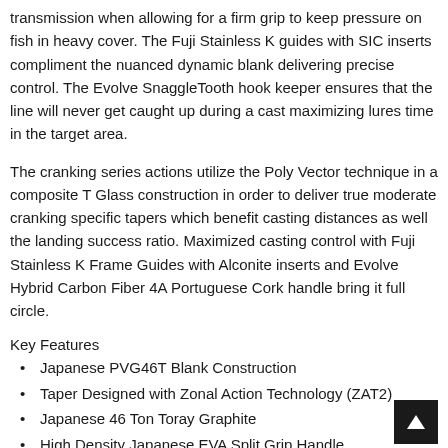transmission when allowing for a firm grip to keep pressure on fish in heavy cover. The Fuji Stainless K guides with SIC inserts compliment the nuanced dynamic blank delivering precise control. The Evolve SnaggleTooth hook keeper ensures that the line will never get caught up during a cast maximizing lures time in the target area.
The cranking series actions utilize the Poly Vector technique in a composite T Glass construction in order to deliver true moderate cranking specific tapers which benefit casting distances as well the landing success ratio. Maximized casting control with Fuji Stainless K Frame Guides with Alconite inserts and Evolve Hybrid Carbon Fiber 4A Portuguese Cork handle bring it full circle.
Key Features
Japanese PVG46T Blank Construction
Taper Designed with Zonal Action Technology (ZAT2)
Japanese 46 Ton Toray Graphite
High Density Japanese EVA Split Grip Handle
Evolve SnaggleTooth Hook Keeper
Evolve Carbon Divide Reel Seat